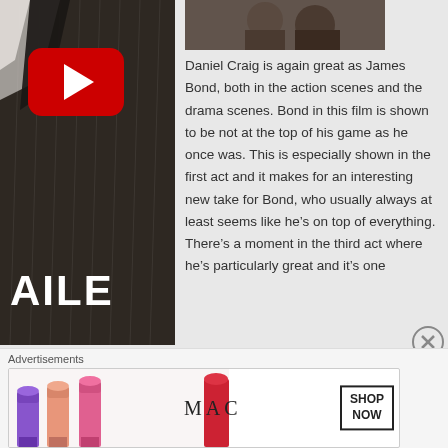[Figure (screenshot): Skyfall movie thumbnail with YouTube play button overlay and partial title text 'AILE' visible]
[Figure (photo): Partial photo of people in top right area]
Daniel Craig is again great as James Bond, both in the action scenes and the drama scenes. Bond in this film is shown to be not at the top of his game as he once was. This is especially shown in the first act and it makes for an interesting new take for Bond, who usually always at least seems like he's on top of everything. There's a moment in the third act where he's particularly great and it's one
[Figure (illustration): Close circle X button for dismissing ad]
Advertisements
[Figure (other): MAC cosmetics advertisement banner showing lipsticks and SHOP NOW button]